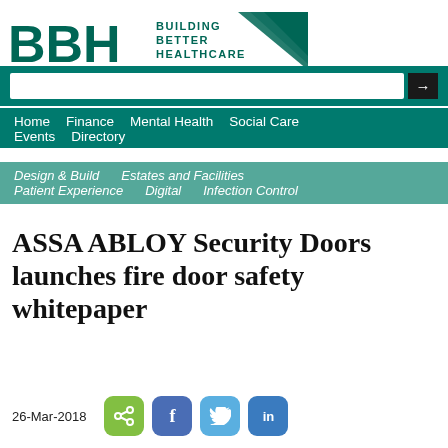[Figure (logo): BBH Building Better Healthcare logo with teal triangles]
Home   Finance   Mental Health   Social Care   Events   Directory
Design & Build   Estates and Facilities   Patient Experience   Digital   Infection Control
ASSA ABLOY Security Doors launches fire door safety whitepaper
26-Mar-2018